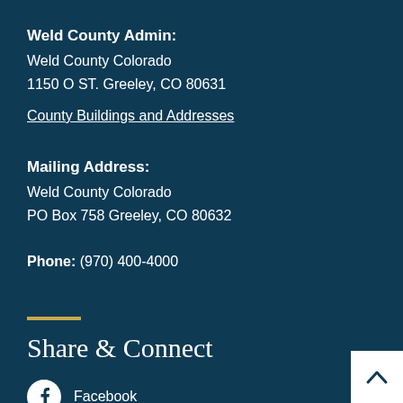Weld County Admin:
Weld County Colorado
1150 O ST. Greeley, CO 80631
County Buildings and Addresses
Mailing Address:
Weld County Colorado
PO Box 758 Greeley, CO 80632
Phone: (970) 400-4000
Share & Connect
Facebook